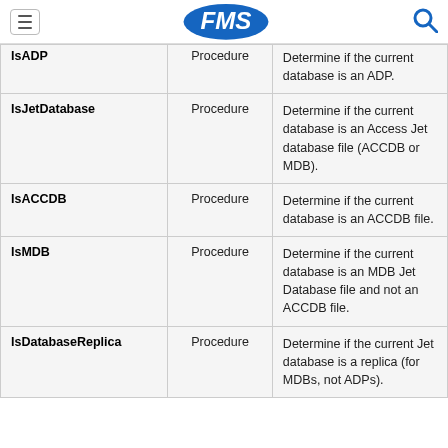FMS
| Name | Type | Description |
| --- | --- | --- |
| IsADP | Procedure | Determine if the current database is an ADP. |
| IsJetDatabase | Procedure | Determine if the current database is an Access Jet database file (ACCDB or MDB). |
| IsACCDB | Procedure | Determine if the current database is an ACCDB file. |
| IsMDB | Procedure | Determine if the current database is an MDB Jet Database file and not an ACCDB file. |
| IsDatabaseReplica | Procedure | Determine if the current Jet database is a replica (for MDBs, not ADPs). |